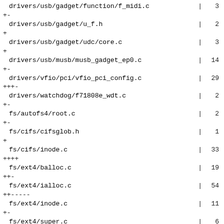drivers/usb/gadget/function/f_midi.c | 3
+-
drivers/usb/gadget/u_f.h | 2
+
drivers/usb/gadget/udc/core.c | 3
+
drivers/usb/musb/musb_gadget_ep0.c | 14
+-
drivers/vfio/pci/vfio_pci_config.c | 29
+++-
drivers/watchdog/f71808e_wdt.c | 2
+-
fs/autofs4/root.c | 2
+-
fs/cifs/cifsglob.h | 1
+
fs/cifs/inode.c | 33
++++
fs/ext4/balloc.c | 19
++-
fs/ext4/ialloc.c | 54
++-----
fs/ext4/inode.c | 11
+-
fs/ext4/super.c | 6
+
fs/fs-writeback.c | 7
+-
fs/jbd2/journal.c | 5
+-